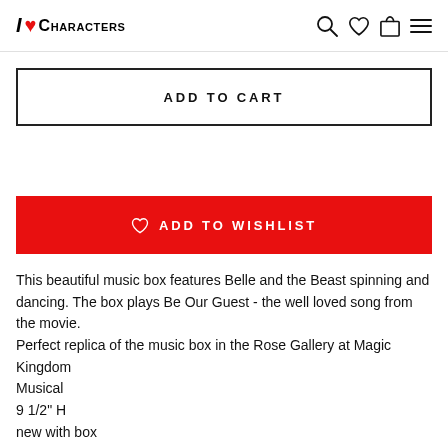I ♥ Characters
ADD TO CART
♡  ADD TO WISHLIST
This beautiful music box features Belle and the Beast spinning and dancing. The box plays Be Our Guest - the well loved song from the movie.
Perfect replica of the music box in the Rose Gallery at Magic Kingdom
Musical
9 1/2" H
new with box